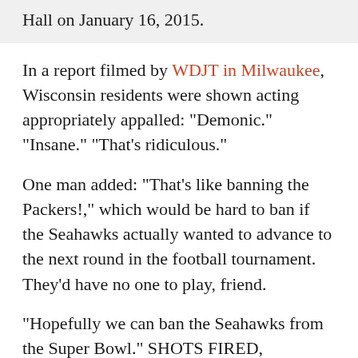Hall on January 16, 2015.
In a report filmed by WDJT in Milwaukee, Wisconsin residents were shown acting appropriately appalled: "Demonic." "Insane." "That's ridiculous."
One man added: "That's like banning the Packers!," which would be hard to ban if the Seahawks actually wanted to advance to the next round in the football tournament. They'd have no one to play, friend.
"Hopefully we can ban the Seahawks from the Super Bowl." SHOTS FIRED, BAINBRIDGE ISLAND.
Go teams. Eat all the cheese you want.